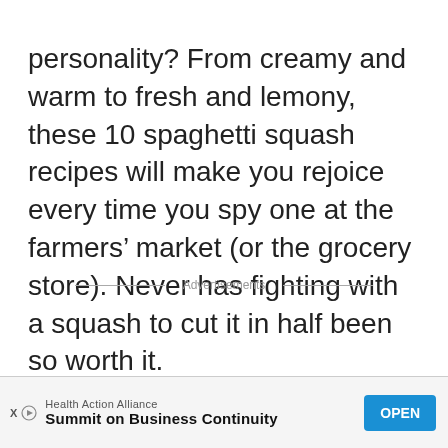personality? From creamy and warm to fresh and lemony, these 10 spaghetti squash recipes will make you rejoice every time you spy one at the farmers' market (or the grocery store). Never has fighting with a squash to cut it in half been so worth it.
Advertisements
[Figure (screenshot): Advertisement banner for Health Action Alliance - Summit on Business Continuity with an OPEN button]